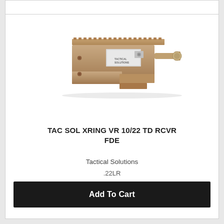[Figure (photo): A tan/FDE colored Tactical Solutions XRING VR 10/22 Takedown receiver with Picatinny rail on top, viewed from the side against a white background.]
TAC SOL XRING VR 10/22 TD RCVR FDE
Tactical Solutions
.22LR
$535.99
Add To Cart